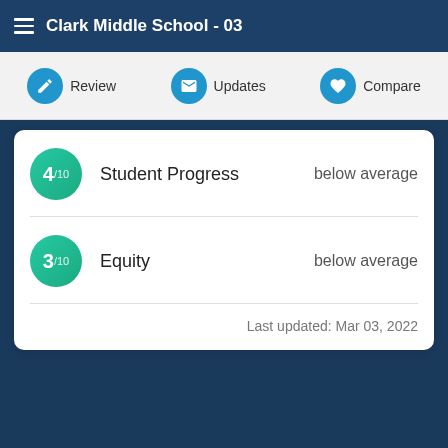Clark Middle School - 03
Review  Updates  Compare
| Score | Category | Rating |
| --- | --- | --- |
| 4/10 | Student Progress | below average |
| 3/10 | Equity | below average |
Last updated: Mar 03, 2022